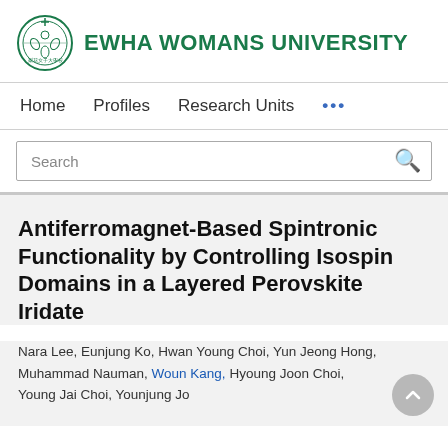EWHA WOMANS UNIVERSITY
Home   Profiles   Research Units   ...
Antiferromagnet-Based Spintronic Functionality by Controlling Isospin Domains in a Layered Perovskite Iridate
Nara Lee, Eunjung Ko, Hwan Young Choi, Yun Jeong Hong, Muhammad Nauman, Woun Kang, Hyoung Joon Choi, Young Jai Choi, Younjung Jo